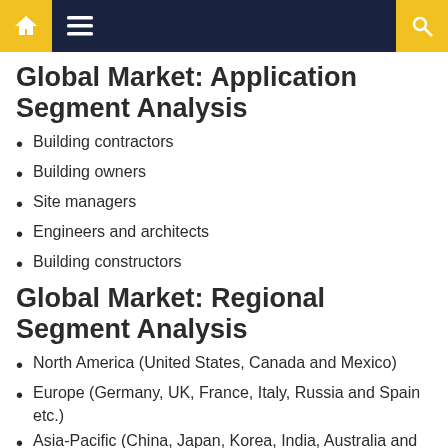Navigation bar with home, menu, and search icons
Global Market: Application Segment Analysis
Building contractors
Building owners
Site managers
Engineers and architects
Building constructors
Global Market: Regional Segment Analysis
North America (United States, Canada and Mexico)
Europe (Germany, UK, France, Italy, Russia and Spain etc.)
Asia-Pacific (China, Japan, Korea, India, Australia and Southeast Asia, etc.)
South America (Brazil, Argentina and Colombia etc.)